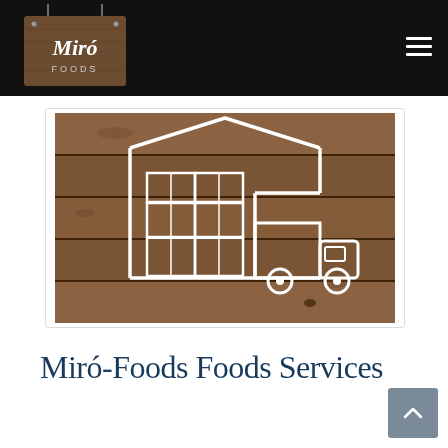Miró Foods
[Figure (illustration): Warehouse and delivery truck icon drawn in white outline on a wooden plank background, representing food distribution services.]
Miró-Foods Foods Services